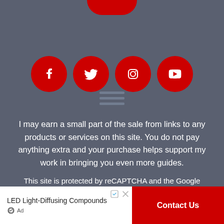[Figure (illustration): Partial red circle at top (social media profile image or logo cropped at top edge)]
[Figure (illustration): Four red circular social media icons in a row: Facebook, Twitter, Instagram, YouTube]
[Figure (illustration): Hamburger/lines icon (three horizontal gray lines), semi-transparent]
I may earn a small part of the sale from links to any products or services on this site. You do not pay anything extra and your purchase helps support my work in bringing you even more guides.
This site is protected by reCAPTCHA and the Google Privacy Policy and Terms of Service apply.
[Figure (illustration): Advertisement banner: 'LED Light-Diffusing Compounds' with Ad label on left, and a red 'Contact Us' button on the right]